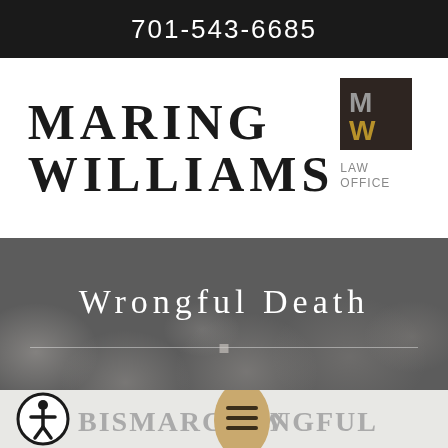701-543-6685
[Figure (logo): Maring Williams Law Office logo with MW monogram icon]
Wrongful Death
Bismarck Wrongful Death Attorney